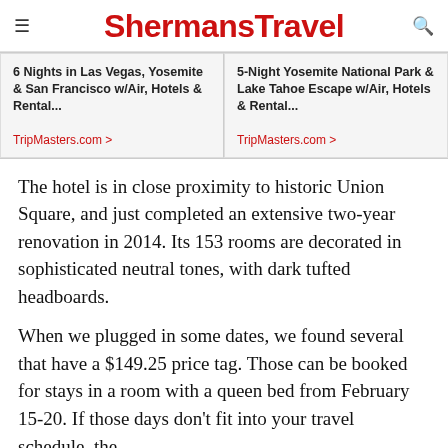ShermansTravel
6 Nights in Las Vegas, Yosemite & San Francisco w/Air, Hotels & Rental...
TripMasters.com >
5-Night Yosemite National Park & Lake Tahoe Escape w/Air, Hotels & Rental...
TripMasters.com >
The hotel is in close proximity to historic Union Square, and just completed an extensive two-year renovation in 2014. Its 153 rooms are decorated in sophisticated neutral tones, with dark tufted headboards.
When we plugged in some dates, we found several that have a $149.25 price tag. Those can be booked for stays in a room with a queen bed from February 15-20. If those days don't fit into your travel schedule, the